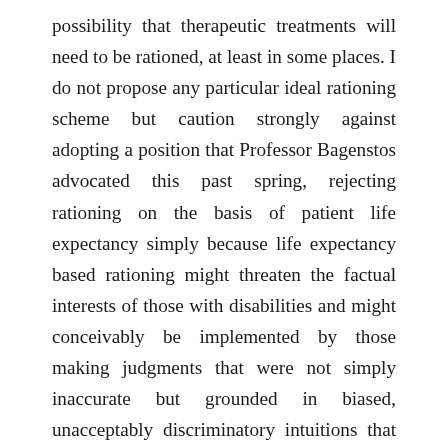possibility that therapeutic treatments will need to be rationed, at least in some places. I do not propose any particular ideal rationing scheme but caution strongly against adopting a position that Professor Bagenstos advocated this past spring, rejecting rationing on the basis of patient life expectancy simply because life expectancy based rationing might threaten the factual interests of those with disabilities and might conceivably be implemented by those making judgments that were not simply inaccurate but grounded in biased, unacceptably discriminatory intuitions that some decision makers would have about the life expectancy of those with disabilities. My view is that Professor Bagenstos does not make either considered normative or empirical arguments that attending to the factual interests of